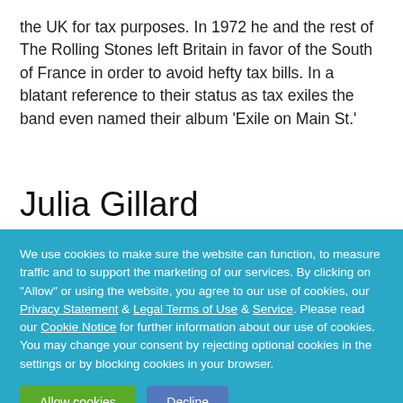the UK for tax purposes. In 1972 he and the rest of The Rolling Stones left Britain in favor of the South of France in order to avoid hefty tax bills. In a blatant reference to their status as tax exiles the band even named their album 'Exile on Main St.'
Julia Gillard
We use cookies to make sure the website can function, to measure traffic and to support the marketing of our services. By clicking on "Allow" or using the website, you agree to our use of cookies, our Privacy Statement & Legal Terms of Use & Service. Please read our Cookie Notice for further information about our use of cookies. You may change your consent by rejecting optional cookies in the settings or by blocking cookies in your browser.